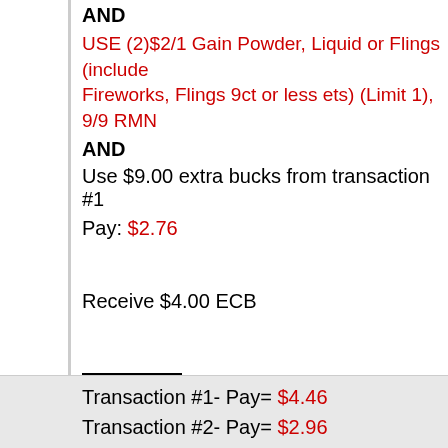AND
USE (2)$2/1 Gain Powder, Liquid or Flings (includes Fireworks, Flings 9ct or less ets) (Limit 1), 9/9 RMN
AND
Use $9.00 extra bucks from transaction #1
Pay: $2.76
Receive $4.00 ECB
Final Results:
Transaction #1- Pay= $4.46
Transaction #2- Pay= $2.96